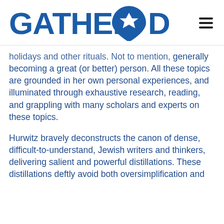GATHER DC
holidays and other rituals. Not to mention, generally becoming a great (or better) person. All these topics are grounded in her own personal experiences, and illuminated through exhaustive research, reading, and grappling with many scholars and experts on these topics.
Hurwitz bravely deconstructs the canon of dense, difficult-to-understand, Jewish writers and thinkers, delivering salient and powerful distillations. These distillations deftly avoid both oversimplification and